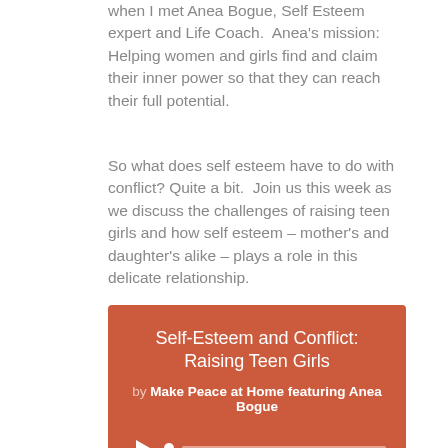when I met Anea Bogue, Self Esteem expert and Life Coach.  Anea's mission: Helping women and girls find and claim their inner power so that they can reach their full potential.
So what does self esteem have to do with conflict? Quite a bit.  Join us this week as we discuss the challenges of raising teen girls and how self esteem – mother's and daughter's alike – plays a role in this delicate relationship.
[Figure (other): Podcast player card with orange-red background showing 'Self-Esteem and Conflict: Raising Teen Girls' by Make Peace at Home featuring Anea Bogue, with a play button, progress bar, and time stamp 00:00]